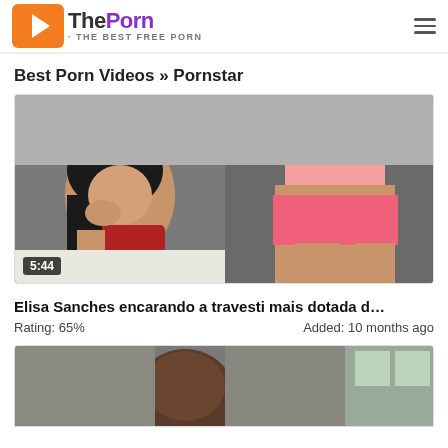ThePorn · THE BEST FREE PORN
Best Porn Videos » Pornstar
[Figure (screenshot): Video thumbnail showing two women in a bedroom scene, duration badge 5:44]
Elisa Sanches encarando a travesti mais dotada d…
Rating: 65%    Added: 10 months ago
[Figure (screenshot): Video thumbnail partially visible at bottom of page showing a person]